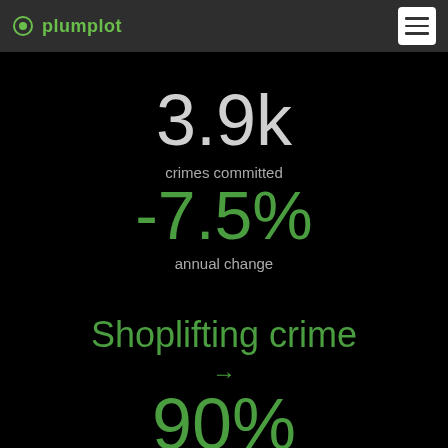plumplot
3.9k
crimes committed
-7.5%
annual change
Shoplifting crime →
90%